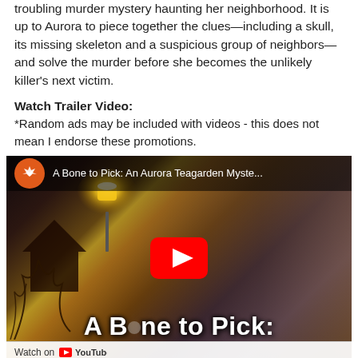troubling murder mystery haunting her neighborhood. It is up to Aurora to piece together the clues—including a skull, its missing skeleton and a suspicious group of neighbors—and solve the murder before she becomes the unlikely killer's next victim.
Watch Trailer Video:
*Random ads may be included with videos - this does not mean I endorse these promotions.
[Figure (screenshot): YouTube video thumbnail for 'A Bone to Pick: An Aurora Teagarden Myste...' showing a blonde woman against a moody background with a street lamp. Red YouTube play button in center. Title 'A Bone to Pick:' overlaid at bottom. 'Watch on YouTube' bar at very bottom.]